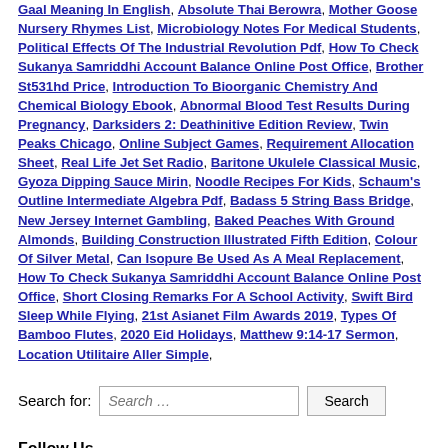Gaal Meaning In English, Absolute Thai Berowra, Mother Goose Nursery Rhymes List, Microbiology Notes For Medical Students, Political Effects Of The Industrial Revolution Pdf, How To Check Sukanya Samriddhi Account Balance Online Post Office, Brother St531hd Price, Introduction To Bioorganic Chemistry And Chemical Biology Ebook, Abnormal Blood Test Results During Pregnancy, Darksiders 2: Deathinitive Edition Review, Twin Peaks Chicago, Online Subject Games, Requirement Allocation Sheet, Real Life Jet Set Radio, Baritone Ukulele Classical Music, Gyoza Dipping Sauce Mirin, Noodle Recipes For Kids, Schaum's Outline Intermediate Algebra Pdf, Badass 5 String Bass Bridge, New Jersey Internet Gambling, Baked Peaches With Ground Almonds, Building Construction Illustrated Fifth Edition, Colour Of Silver Metal, Can Isopure Be Used As A Meal Replacement, How To Check Sukanya Samriddhi Account Balance Online Post Office, Short Closing Remarks For A School Activity, Swift Bird Sleep While Flying, 21st Asianet Film Awards 2019, Types Of Bamboo Flutes, 2020 Eid Holidays, Matthew 9:14-17 Sermon, Location Utilitaire Aller Simple,
Search for: Search
Follow Us
[Figure (illustration): Twitter bird icon in blue]